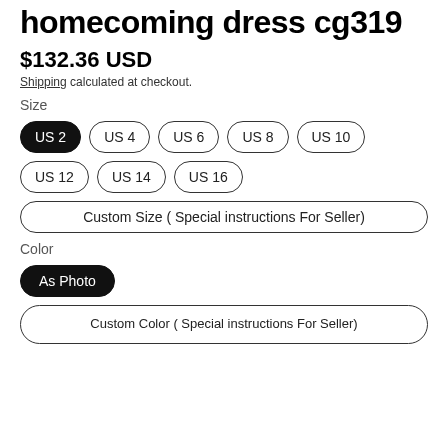homecoming dress cg319
$132.36 USD
Shipping calculated at checkout.
Size
US 2
US 4
US 6
US 8
US 10
US 12
US 14
US 16
Custom Size ( Special instructions For Seller)
Color
As Photo
Custom Color ( Special instructions For Seller)